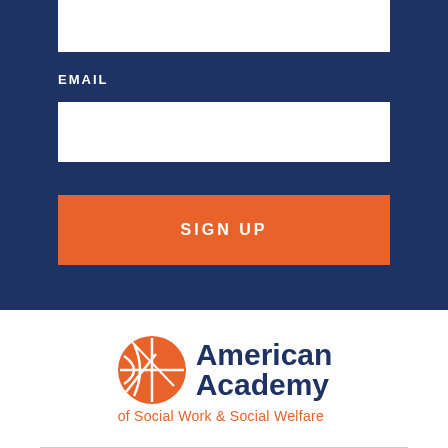EMAIL
SIGN UP
[Figure (logo): American Academy of Social Work & Social Welfare logo with orange circular globe icon and dark blue text]